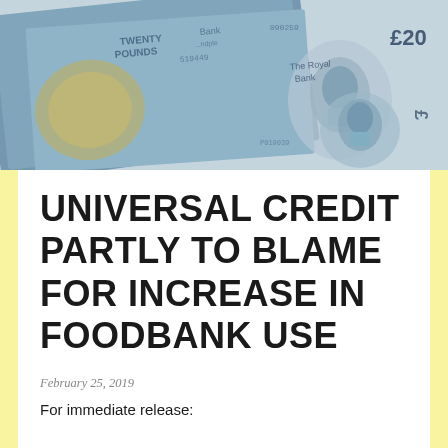[Figure (photo): Photograph of overlapping British £20 banknotes including Royal Bank of Scotland notes, showing faces and text on the currency.]
UNIVERSAL CREDIT PARTLY TO BLAME FOR INCREASE IN FOODBANK USE
February 25, 2019
For immediate release: